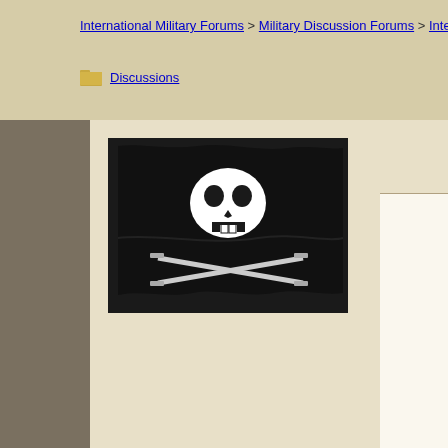International Military Forums > Military Discussion Forums > International Discussions
[Figure (illustration): Jolly Roger pirate flag with skull and crossed swords on black background]
😊 😊
Quote:
Source: BBC News

At least three soldiers and a civilian were injured by a car bomb in India...

The blast occurred near a school in the capital. No children were hurt...

The Hizbul Mujahideen carried out the attack, spokesman of the militant group...

About 40,000 people have been killed by security forces and militants...

QUICK GUIDE

Kashmir dispute

The BBC's Altaf Hussain in Srinagar says by a car bomb in a high security area where ministers and bureaucrats live...